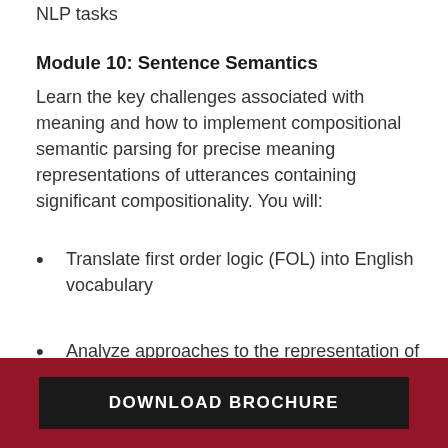NLP tasks
Module 10: Sentence Semantics
Learn the key challenges associated with meaning and how to implement compositional semantic parsing for precise meaning representations of utterances containing significant compositionality. You will:
Translate first order logic (FOL) into English vocabulary
Analyze approaches to the representation of meaning beyond FOL and description logics
Capstone Project: You will use combinations of tools
DOWNLOAD BROCHURE